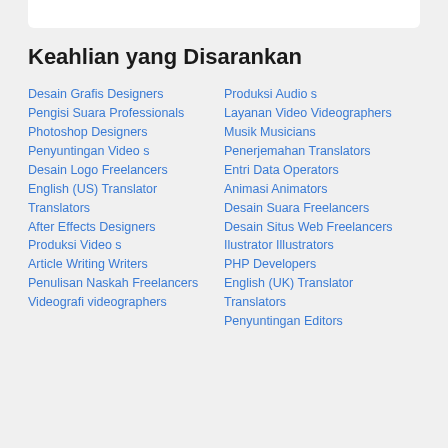Keahlian yang Disarankan
Desain Grafis Designers
Pengisi Suara Professionals
Photoshop Designers
Penyuntingan Video s
Desain Logo Freelancers
English (US) Translator Translators
After Effects Designers
Produksi Video s
Article Writing Writers
Penulisan Naskah Freelancers
Videografi videographers
Produksi Audio s
Layanan Video Videographers
Musik Musicians
Penerjemahan Translators
Entri Data Operators
Animasi Animators
Desain Suara Freelancers
Desain Situs Web Freelancers
Ilustrator Illustrators
PHP Developers
English (UK) Translator Translators
Penyuntingan Editors